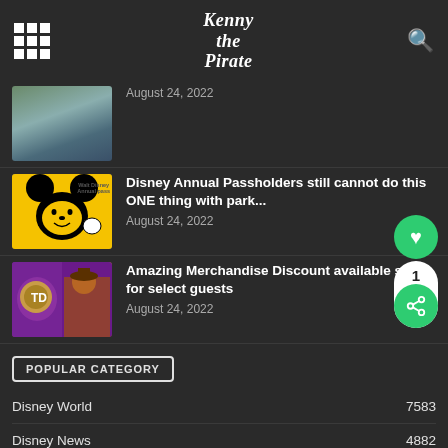Kenny the Pirate
[Figure (screenshot): Thumbnail image of a waterway/park scene]
August 24, 2022
[Figure (screenshot): Yellow background with Mickey Mouse silhouette and Walt Disney text]
Disney Annual Passholders still cannot do this ONE thing with park...
August 24, 2022
[Figure (screenshot): Purple and gold themed Disney show image]
Amazing Merchandise Discount available soon for select guests
August 24, 2022
POPULAR CATEGORY
Disney World	7583
Disney News	4882
Disney Planning Tips	919